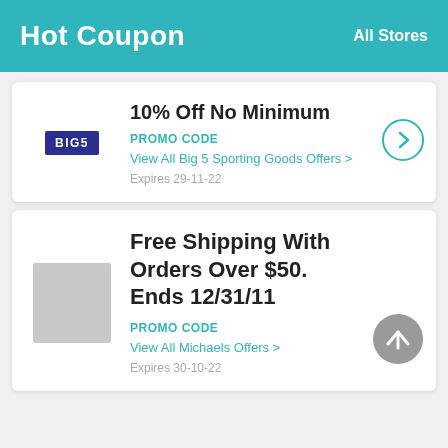Hot Coupon   All Stores
10% Off No Minimum
PROMO CODE
View All Big 5 Sporting Goods Offers >
Expires 29-11-22
Free Shipping With Orders Over $50. Ends 12/31/11
PROMO CODE
View All Michaels Offers >
Expires 30-10-22